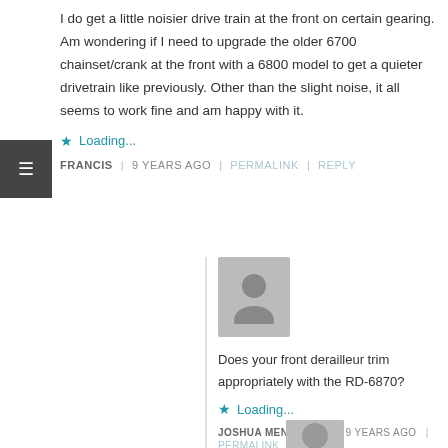I do get a little noisier drive train at the front on certain gearing. Am wondering if I need to upgrade the older 6700 chainset/crank at the front with a 6800 model to get a quieter drivetrain like previously. Other than the slight noise, it all seems to work fine and am happy with it.
Loading...
FRANCIS | 9 YEARS AGO | PERMALINK | REPLY
[Figure (illustration): Gray placeholder avatar silhouette]
Does your front derailleur trim appropriately with the RD-6870?
Loading...
JOSHUA MENENDEZ | 9 YEARS AGO |
PERMALINK | REPLY
[Figure (illustration): Gray placeholder avatar silhouette (partial)]